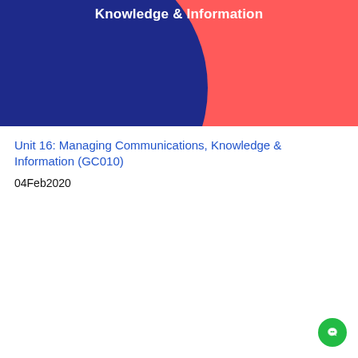[Figure (illustration): Top red banner with dark navy blue circle in upper-left area and bold white text 'Knowledge & Information' centered at the top]
Unit 16: Managing Communications, Knowledge & Information (GC010)
04Feb2020
[Figure (illustration): Bottom red banner with dark navy blue circle in lower-left area and bold white centered text 'Knowledge Management: Managing Communications, Knowledge & Information']